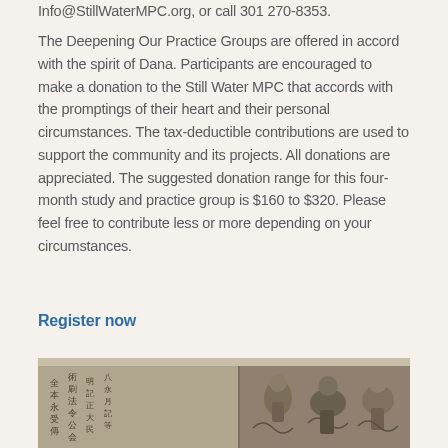Info@StillWaterMPC.org, or call 301 270-8353.
The Deepening Our Practice Groups are offered in accord with the spirit of Dana. Participants are encouraged to make a donation to the Still Water MPC that accords with the promptings of their heart and their personal circumstances. The tax-deductible contributions are used to support the community and its projects. All donations are appreciated. The suggested donation range for this four-month study and practice group is $160 to $320. Please feel free to contribute less or more depending on your circumstances.
Register now
[Figure (photo): Partial view of an East Asian scroll or manuscript with Chinese/Japanese characters on the left side and illustrated figures/imagery on the right side, in aged sepia tones.]